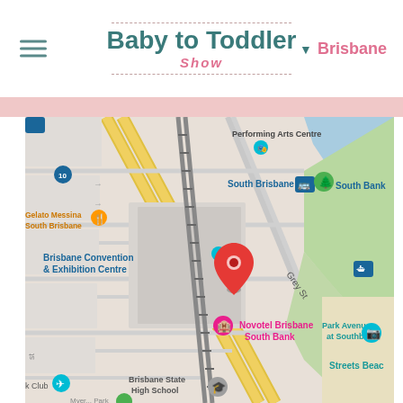[Figure (logo): Baby to Toddler Show logo with teal text and pink 'Show' subtitle, flanked by dashed borders]
Brisbane
[Figure (map): Google Maps screenshot showing Brisbane South Bank area, centered on Brisbane Convention & Exhibition Centre with a red map pin marker. Nearby landmarks include Performing Arts Centre, South Brisbane train station, Gelato Messina South Brisbane, Novotel Brisbane South Bank, Park Avenue at Southbank, Streets Beach, South Bank parklands, and Brisbane State High School. Grey St is visible running diagonally.]